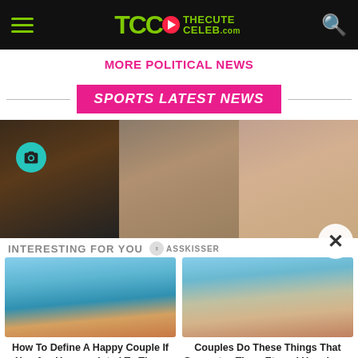TheCuteCeleb.com
MORE POLITICAL NEWS
SPORTS LATEST NEWS
[Figure (photo): Three sports celebrity face photos in a horizontal row with a camera icon badge overlay on the first image]
INTERESTING FOR YOU
[Figure (photo): Photo of a couple kissing on a beach with waves]
How To Define A Happy Couple If You Are Unacquainted To Them
[Figure (photo): Beach body close-up photo]
Couples Do These Things That Guarantee Them Eternal Happiness